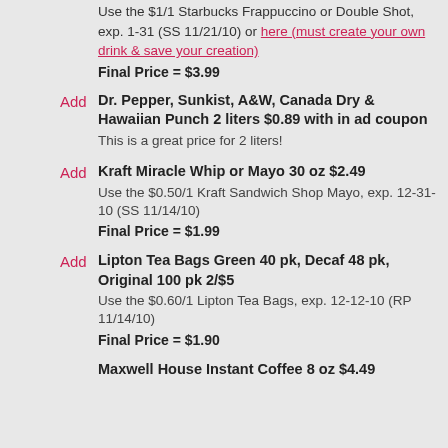Use the $1/1 Starbucks Frappuccino or Double Shot, exp. 1-31 (SS 11/21/10) or here (must create your own drink & save your creation)
Final Price = $3.99
Add  Dr. Pepper, Sunkist, A&W, Canada Dry & Hawaiian Punch 2 liters $0.89 with in ad coupon  This is a great price for 2 liters!
Add  Kraft Miracle Whip or Mayo 30 oz $2.49  Use the $0.50/1 Kraft Sandwich Shop Mayo, exp. 12-31-10 (SS 11/14/10)  Final Price = $1.99
Add  Lipton Tea Bags Green 40 pk, Decaf 48 pk, Original 100 pk 2/$5  Use the $0.60/1 Lipton Tea Bags, exp. 12-12-10 (RP 11/14/10)  Final Price = $1.90
Maxwell House Instant Coffee 8 oz $4.49